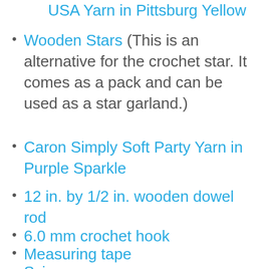USA Yarn in Pittsburg Yellow
Wooden Stars (This is an alternative for the crochet star. It comes as a pack and can be used as a star garland.)
Caron Simply Soft Party Yarn in Purple Sparkle
12 in. by 1/2 in. wooden dowel rod
6.0 mm crochet hook
Measuring tape
Scissors